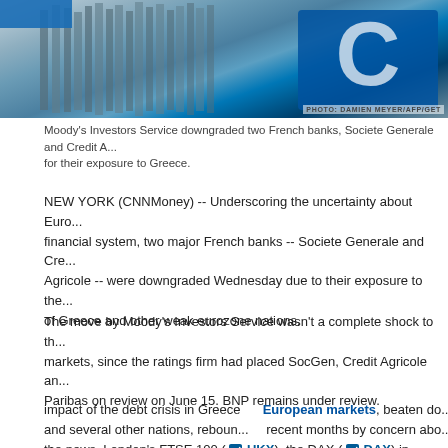[Figure (photo): Photo of Societe Generale or Credit Agricole bank sign/logo, blue and white colors. Photo credit: PHOTO: DAMIEN MEYER/AFP/GET]
Moody's Investors Service downgraded two French banks, Societe Generale and Credit A... for their exposure to Greece.
NEW YORK (CNNMoney) -- Underscoring the uncertainty about Euro... financial system, two major French banks -- Societe Generale and Cr... Agricole -- were downgraded Wednesday due to their exposure to the... of Greece and other weak eurozone nations.
The move by Moody's Investors Service wasn't a complete shock to th... markets, since the ratings firm had placed SocGen, Credit Agricole an... Paribas on review on June 15. BNP remains under review.
European markets, beaten do... recent months by concern abo... impact of the debt crisis in Greece and several other nations, reboun... the news. London's FTSE 100 (UKX), the DAX (DAX) in Frankf... the CAC 40 (CAC40) in Paris all rose by at least 1%.
Moody's downgraded Societe Generale's long-term ratings by one no...